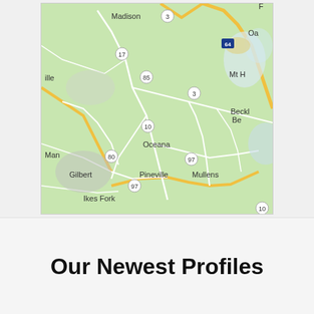[Figure (map): Google Maps style topographic map of Wyoming County area in West Virginia, showing towns including Madison, Oceana, Gilbert, Man, Pineville, Mullens, Ikes Fork, Beckley area, Mt Holly area, and roads numbered 3, 17, 85, 10, 80, 97, 64.]
Our Newest Profiles